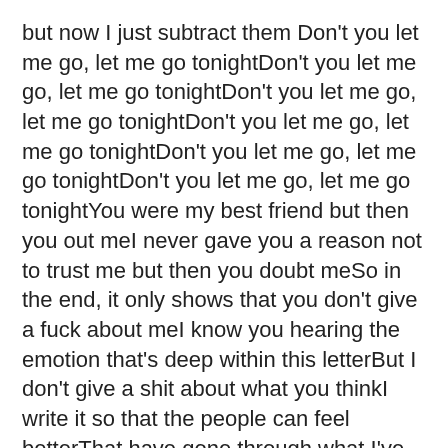but now I just subtract them Don't you let me go, let me go tonightDon't you let me go, let me go tonightDon't you let me go, let me go tonightDon't you let me go, let me go tonightDon't you let me go, let me go tonightDon't you let me go, let me go tonightYou were my best friend but then you out meI never gave you a reason not to trust me but then you doubt meSo in the end, it only shows that you don't give a fuck about meI know you hearing the emotion that's deep within this letterBut I don't give a shit about what you thinkI write it so that the people can feel betterThat have gone through what I've gone throughMemories of a perfect love that's broken and haunt youAnd if you think I write this song to taunt youI don't want youI want the memory of who you wereAnd what it was to wake up everydayAnd have an endless love with an angel from up aboveBut now it would seem my baby girl has fallenAnd another path within my life is